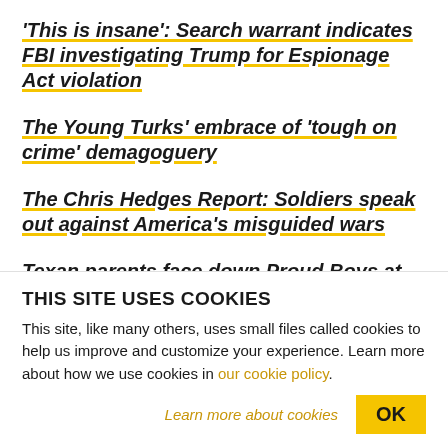'This is insane': Search warrant indicates FBI investigating Trump for Espionage Act violation
The Young Turks' embrace of 'tough on crime' demagoguery
The Chris Hedges Report: Soldiers speak out against America's misguided wars
Texan parents face down Proud Boys at library Pride event
The Chris Hedges Report: We don't need the CIA
THIS SITE USES COOKIES
This site, like many others, uses small files called cookies to help us improve and customize your experience. Learn more about how we use cookies in our cookie policy.
Learn more about cookies
OK